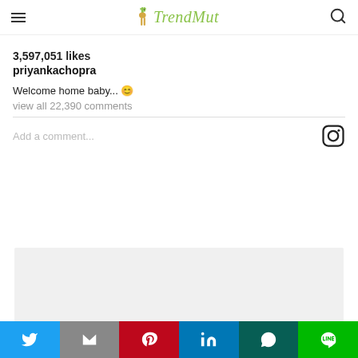TrendMut
3,597,051 likes
priyankachopra
Welcome home baby... 😊
view all 22,390 comments
Add a comment...
[Figure (other): Gray placeholder/ad box]
[Figure (infographic): Social share bar with Twitter, Gmail, Pinterest, LinkedIn, WhatsApp, Line buttons]